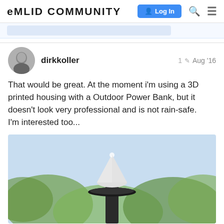EMLID COMMUNITY  Log In
dirkkoller  1  Aug '16
That would be great. At the moment i'm using a 3D printed housing with a Outdoor Power Bank, but it doesn't look very professional and is not rain-safe.
I'm interested too...
[Figure (photo): Photo of a 3D printed white cone-shaped GPS housing mounted on a dark metal pole/antenna mount, with blurred green foliage in the background.]